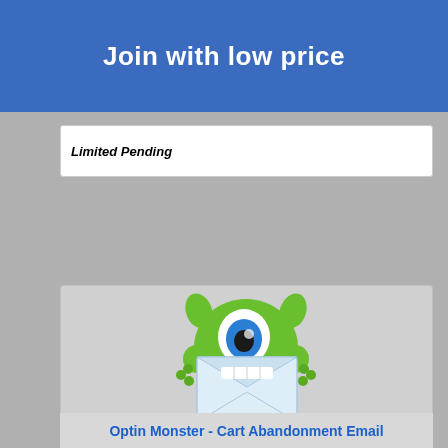Join with low price
Limited Pending
[Figure (logo): OptinMonster logo featuring a green one-eyed monster holding a white envelope, with the text 'optinmonster' in green and blue below]
Optin Monster - Cart Abandonment Email